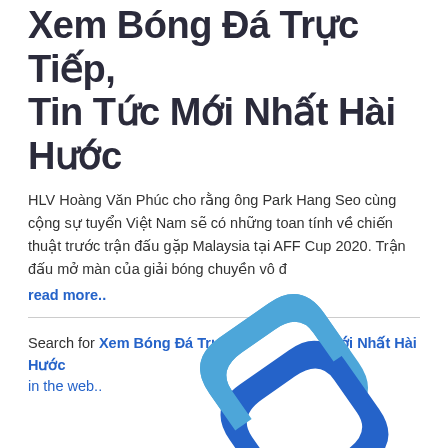Xem Bóng Đá Trực Tiếp, Tin Tức Mới Nhất Hài Hước
HLV Hoàng Văn Phúc cho rằng ông Park Hang Seo cùng cộng sự tuyển Việt Nam sẽ có những toan tính về chiến thuật trước trận đấu gặp Malaysia tại AFF Cup 2020. Trận đấu mở màn của giải bóng chuyền vô đ
read more..
Search for Xem Bóng Đá Trực Tiếp, Tin Tức Mới Nhất Hài Hước in the web..
[Figure (illustration): A blue chain link icon (two interlocking chain links), partially visible at the bottom of the page, rendered in blue and darker blue colors.]